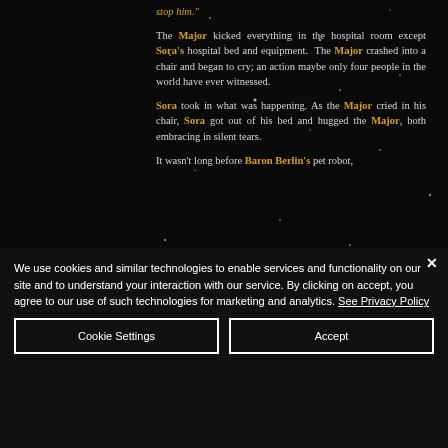stop him."

The Major kicked everything in the hospital room except Sora's hospital bed and equipment. The Major crashed into a chair and began to cry; an action maybe only four people in the world have ever witnessed.

Sora took in what was happening. As the Major cried in his chair, Sora got out of his bed and hugged the Major, both embracing in silent tears.

It wasn't long before Baron Berlin's pet robot,
We use cookies and similar technologies to enable services and functionality on our site and to understand your interaction with our service. By clicking on accept, you agree to our use of such technologies for marketing and analytics. See Privacy Policy